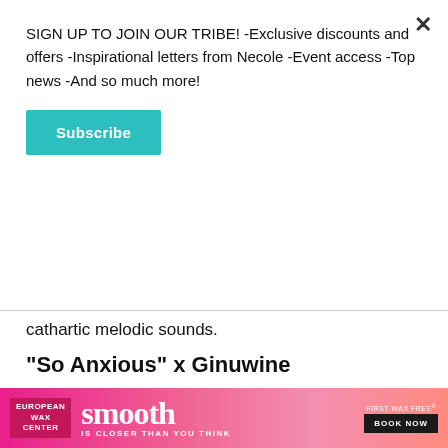SIGN UP TO JOIN OUR TRIBE! -Exclusive discounts and offers -Inspirational letters from Necole -Event access -Top news -And so much more!
Subscribe
cathartic melodic sounds.
"So Anxious" x Ginuwine
[Figure (screenshot): YouTube video thumbnail for 'So Anxious - Ginuwine' showing a man's face with bokeh background, YouTube play button overlay, channel avatar, and '100% GINUWINE' text]
[Figure (photo): Advertisement banner for European Wax Center featuring 'smooth IS CLOSER THAN YOU THINK' text on pink/red gradient background with 'FIRST WAX FREE BOOK NOW' call to action]